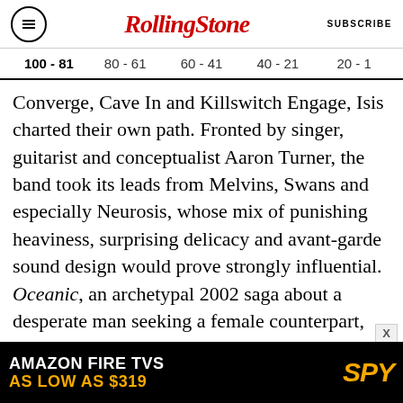RollingStone | SUBSCRIBE
100 - 81   80 - 61   60 - 41   40 - 21   20 - 1
Converge, Cave In and Killswitch Engage, Isis charted their own path. Fronted by singer, guitarist and conceptualist Aaron Turner, the band took its leads from Melvins, Swans and especially Neurosis, whose mix of punishing heaviness, surprising delicacy and avant-garde sound design would prove strongly influential. Oceanic, an archetypal 2002 saga about a desperate man seeking a female counterpart, was a decisive turning point, its songs endowed with atmospheres and textures so imaginative you
[Figure (other): Advertisement banner: AMAZON FIRE TVS AS LOW AS $319, SPY logo]